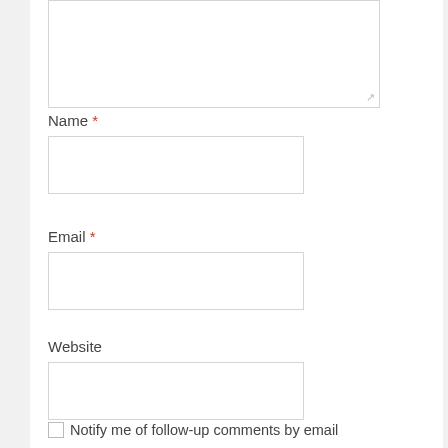[Figure (other): Comment textarea input box, partially visible at top of page]
Name *
[Figure (other): Name text input field]
Email *
[Figure (other): Email text input field]
Website
[Figure (other): Website text input field]
Notify me of follow-up comments by email